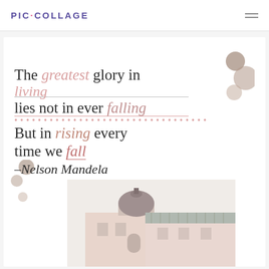PIC·COLLAGE
[Figure (illustration): PicCollage app screenshot showing a motivational quote collage with decorative circles and a photo of a pink building with domed roof. Quote reads: The greatest glory in living lies not in ever falling But in rising every time we fall — Nelson Mandela]
The greatest glory in living lies not in ever falling But in rising every time we fall — Nelson Mandela